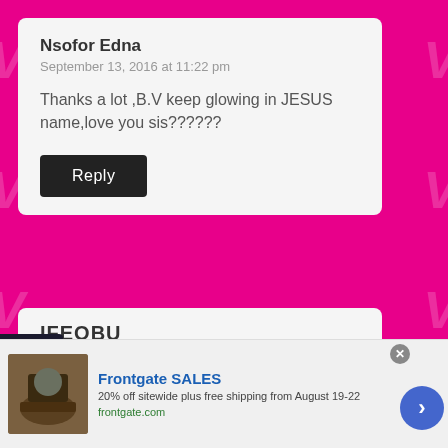Nsofor Edna
September 13, 2016 at 11:22 pm
Thanks a lot ,B.V keep glowing in JESUS name,love you sis??????
Reply
IFEOBU
[Figure (screenshot): Advertisement bar: Frontgate SALES - 20% off sitewide plus free shipping from August 19-22, frontgate.com]
infolinks